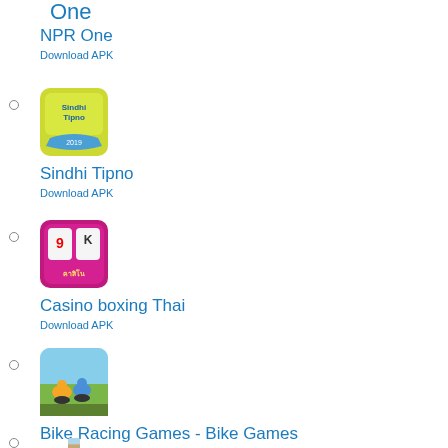One
NPR One
Download APK
[Figure (illustration): Sindhi Tipno app icon - yellow/green background with text 'Sindhi Tipno 2019']
Sindhi Tipno
Download APK
[Figure (illustration): Casino boxing Thai app icon - pink/magenta background with playing card figures]
Casino boxing Thai
Download APK
[Figure (illustration): Bike Racing Games - Bike Games app icon - outdoor motorcycle racing scene]
Bike Racing Games - Bike Games
Download APK
[Figure (illustration): Partial app icon - outdoor/nature scene]